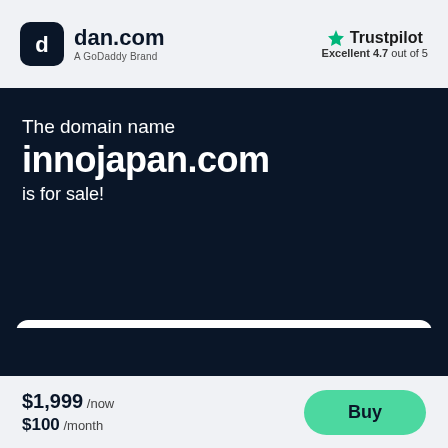[Figure (logo): dan.com logo with rounded square icon and text 'dan.com', subtitle 'A GoDoddy Brand']
[Figure (logo): Trustpilot logo with green star, text 'Trustpilot', subtitle 'Excellent 4.7 out of 5']
The domain name
innojapan.com
is for sale!
Get this domain
$1,999 /now
$100 /month
Buy